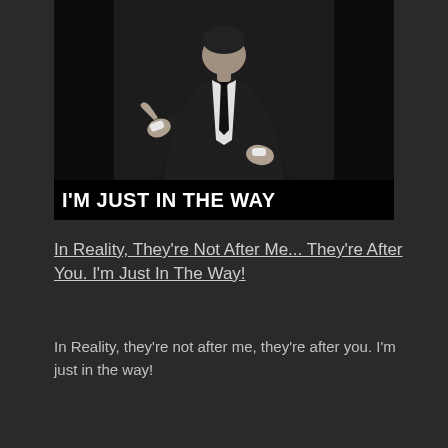[Figure (photo): Black and white photo of a man in a dark suit and tie, seated and pointing forward with one hand while the other rests on his knee. Below the photo is a black banner with bold white text reading 'I'M JUST IN THE WAY']
In Reality, They're Not After Me... They're After You. I'm Just In The Way!
In Reality, they're not after me, they're after you. I'm just in the way!